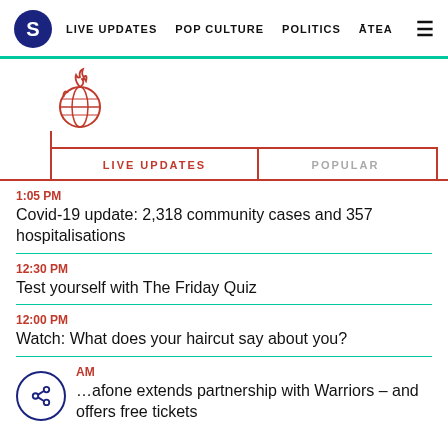S  LIVE UPDATES  POP CULTURE  POLITICS  ĀTEA  ☰
[Figure (illustration): Red line-art icon of a flaming globe (fire on top of Earth outline)]
LIVE UPDATES
POPULAR
1:05 PM
Covid-19 update: 2,318 community cases and 357 hospitalisations
12:30 PM
Test yourself with The Friday Quiz
12:00 PM
Watch: What does your haircut say about you?
AM
…afone extends partnership with Warriors – and offers free tickets